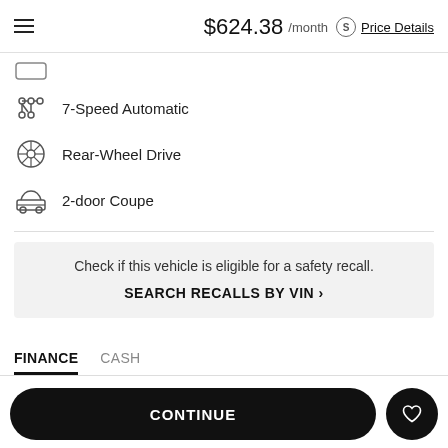$624.38 /month Price Details
7-Speed Automatic
Rear-Wheel Drive
2-door Coupe
Check if this vehicle is eligible for a safety recall.
SEARCH RECALLS BY VIN ›
FINANCE   CASH
CONTINUE